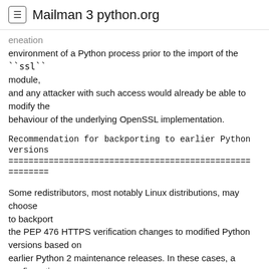≡ Mailman 3 python.org
eneation
environment of a Python process prior to the import of the ``ssl`` module,
and any attacker with such access would already be able to modify the
behaviour of the underlying OpenSSL implementation.
Recommendation for backporting to earlier Python versions
================================================================
========
Some redistributors, most notably Linux distributions, may choose to backport
the PEP 476 HTTPS verification changes to modified Python versions based on
earlier Python 2 maintenance releases. In these cases, a configuration
mechanism is needed that provides:
* an opt-in model that allows the decision to enable HTTPS certificate